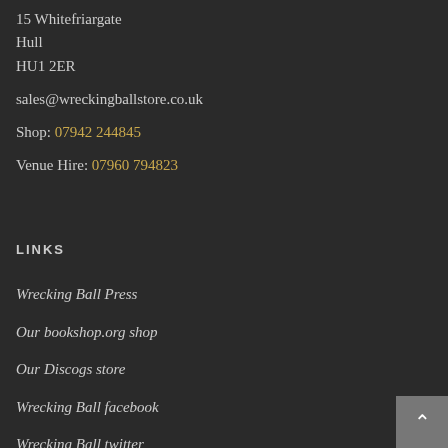15 Whitefriargate
Hull
HU1 2ER

sales@wreckingballstore.co.uk

Shop: 07942 244845

Venue Hire: 07960 794823
LINKS
Wrecking Ball Press
Our bookshop.org shop
Our Discogs store
Wrecking Ball facebook
Wrecking Ball twitter